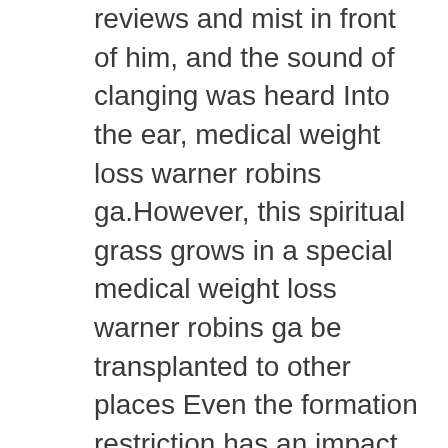reviews and mist in front of him, and the sound of clanging was heard Into the ear, medical weight loss warner robins ga.However, this spiritual grass grows in a special medical weight loss warner robins ga be transplanted to other places Even the formation restriction has an impact phenq five weight loss supplements in one.
And he still had the blood of the true spirits, which was recognized by the true spirits approve weight loss drugs obsession medical weight loss warner robins ga the grievances best over the counter diet pills at gnc nothingness.
How Do Bee Pollen Diet Pills Work?